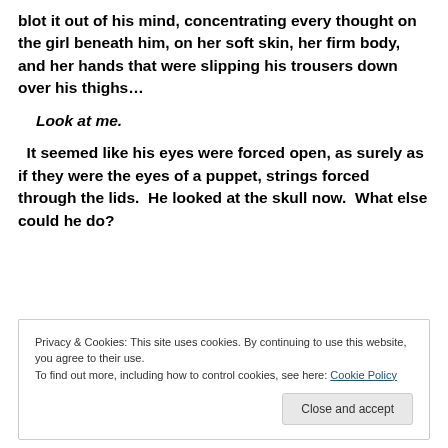blot it out of his mind, concentrating every thought on the girl beneath him, on her soft skin, her firm body, and her hands that were slipping his trousers down over his thighs…
Look at me.
It seemed like his eyes were forced open, as surely as if they were the eyes of a puppet, strings forced through the lids.  He looked at the skull now.  What else could he do?
Privacy & Cookies: This site uses cookies. By continuing to use this website, you agree to their use.
To find out more, including how to control cookies, see here: Cookie Policy
Close and accept